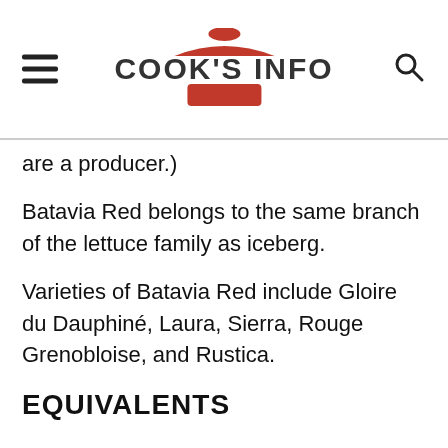COOK'S INFO
are a producer.)
Batavia Red belongs to the same branch of the lettuce family as iceberg.
Varieties of Batavia Red include Gloire du Dauphiné, Laura, Sierra, Rouge Grenobloise, and Rustica.
EQUIVALENTS